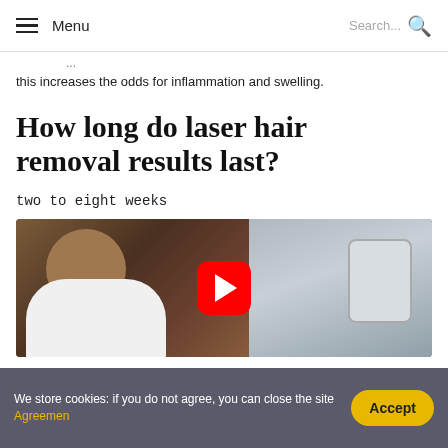Menu  Search...
this increases the odds for inflammation and swelling.
How long do laser hair removal results last?
two to eight weeks
[Figure (photo): Video thumbnail showing a person with red hair and glasses leaning over laser hair removal equipment, with a YouTube play button overlay]
We store cookies: if you do not agree, you can close the site Agreemen  Accept